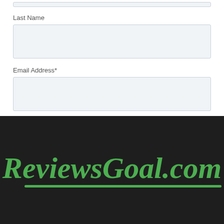Last Name
Email Address*
Submit
[Figure (logo): ReviewsGoal.com logo in green italic bold text on dark background with underline swoosh]